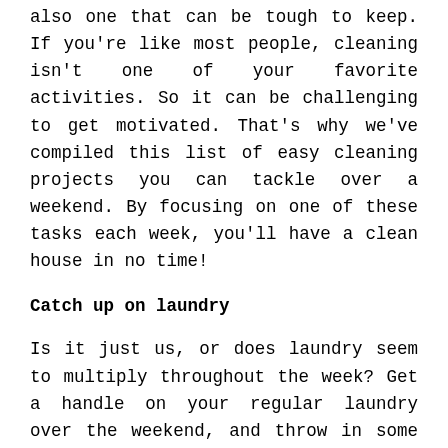also one that can be tough to keep. If you're like most people, cleaning isn't one of your favorite activities. So it can be challenging to get motivated. That's why we've compiled this list of easy cleaning projects you can tackle over a weekend. By focusing on one of these tasks each week, you'll have a clean house in no time!
Catch up on laundry
Is it just us, or does laundry seem to multiply throughout the week? Get a handle on your regular laundry over the weekend, and throw in some extras while you're at it. This could include giving all your towels a good wash, finally washing the sheets and pillowcases in the guest bedroom, or tossing your washable throw rugs in the machine. Since you're